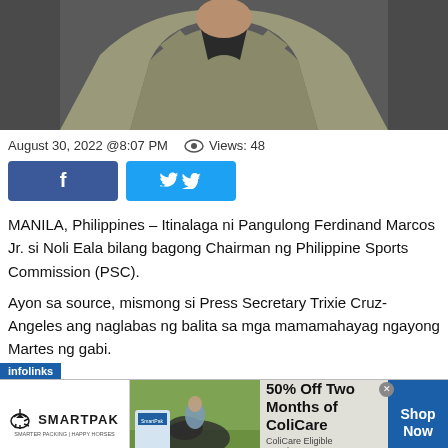[Figure (photo): Photo of a person wearing a khaki/olive jacket with a dark shirt, cropped at chest level, dark background]
August 30, 2022 @8:07 PM   Views: 48
[Figure (other): Facebook and Twitter share buttons]
MANILA, Philippines – Itinalaga ni Pangulong Ferdinand Marcos Jr. si Noli Eala bilang bagong Chairman ng Philippine Sports Commission (PSC).
Ayon sa source, mismong si Press Secretary Trixie Cruz-Angeles ang naglabas ng balita sa mga mamamahayag ngayong Martes ng gabi.
[Figure (other): Infolinks advertisement banner for SmartPak featuring horse and rider, promoting 50% Off Two Months of ColiCare with code COLICARE10]